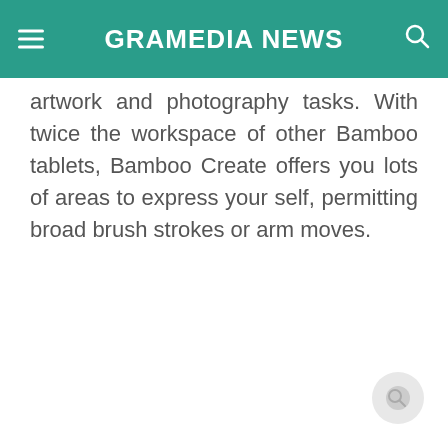GRAMEDIA NEWS
artwork and photography tasks. With twice the workspace of other Bamboo tablets, Bamboo Create offers you lots of areas to express your self, permitting broad brush strokes or arm moves.